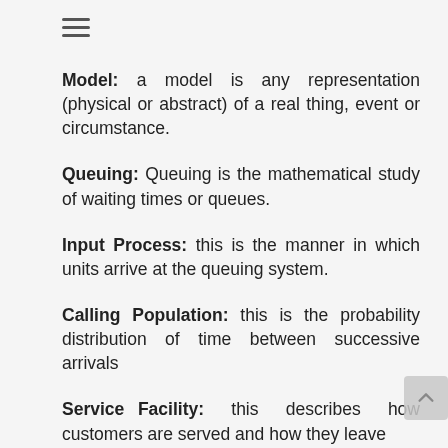Model: a model is any representation (physical or abstract) of a real thing, event or circumstance.
Queuing: Queuing is the mathematical study of waiting times or queues.
Input Process: this is the manner in which units arrive at the queuing system.
Calling Population: this is the probability distribution of time between successive arrivals
Service Facility: this describes how customers are served and how they leave